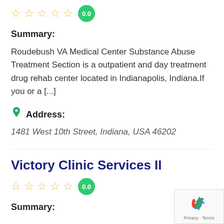[Figure (other): 5 empty star rating icons followed by green badge showing 0.0]
Summary:
Roudebush VA Medical Center Substance Abuse Treatment Section is a outpatient and day treatment drug rehab center located in Indianapolis, Indiana.If you or a [...]
Address:
1481 West 10th Street, Indiana, USA 46202
Victory Clinic Services II
[Figure (other): 5 empty star rating icons followed by green badge showing 0.0]
Summary: